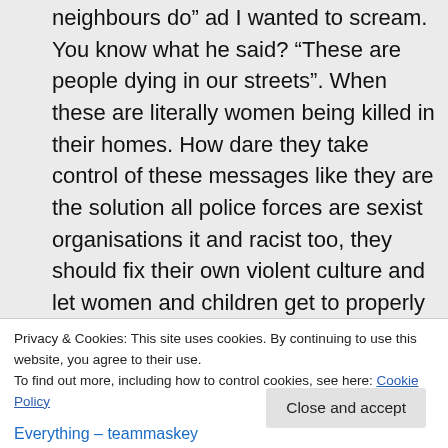neighbours do” ad I wanted to scream. You know what he said? “These are people dying in our streets”. When these are literally women being killed in their homes. How dare they take control of these messages like they are the solution all police forces are sexist organisations it and racist too, they should fix their own violent culture and let women and children get to properly funded housing and support services.
Privacy & Cookies: This site uses cookies. By continuing to use this website, you agree to their use.
To find out more, including how to control cookies, see here: Cookie Policy
Close and accept
Everything – teammaskey